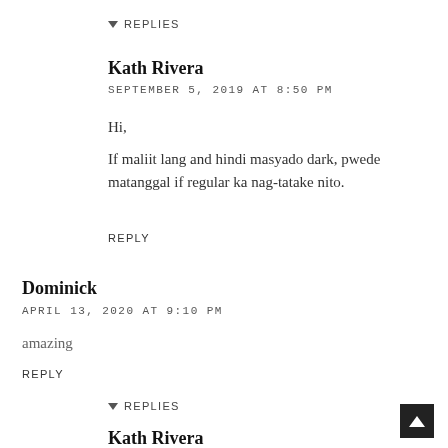▾ REPLIES
Kath Rivera
SEPTEMBER 5, 2019 AT 8:50 PM
Hi,
If maliit lang and hindi masyado dark, pwede matanggal if regular ka nag-tatake nito.
REPLY
Dominick
APRIL 13, 2020 AT 9:10 PM
amazing
REPLY
▾ REPLIES
Kath Rivera